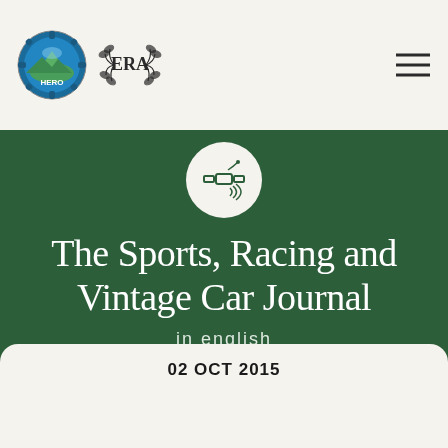HERO ERA logos and navigation
The Sports, Racing and Vintage Car Journal
in english
02 OCT 2015